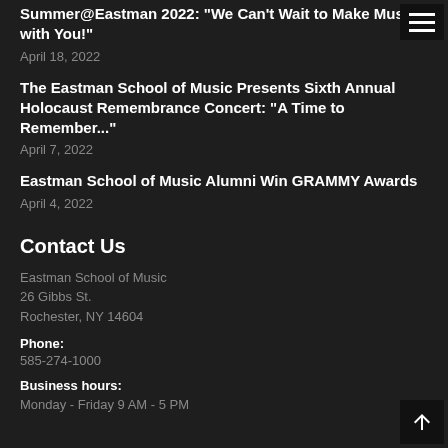Summer@Eastman 2022: "We Can't Wait to Make Music with You!"
April 18, 2022
The Eastman School of Music Presents Sixth Annual Holocaust Remembrance Concert: "A Time to Remember..."
April 7, 2022
Eastman School of Music Alumni Win GRAMMY Awards
April 4, 2022
Contact Us
Eastman School of Music
26 Gibbs St.
Rochester, NY 14604
Phone:
585-274-1000
Business hours:
Monday - Friday 9 AM - 5 PM